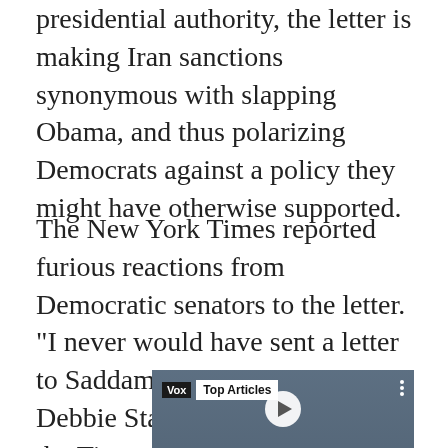presidential authority, the letter is making Iran sanctions synonymous with slapping Obama, and thus polarizing Democrats against a policy they might have otherwise supported.
The New York Times reported furious reactions from Democratic senators to the letter. "I never would have sent a letter to Saddam Hussein," Sen. Debbie Stabenow said, in a voice the Times describes as "shaking with rage." According to Sen. Tim Kaine, "Republicans have made it harder for us to approach this in a careful and bipartisan way."
[Figure (screenshot): Vox Top Articles video thumbnail with a play button, showing a military scene. Three-dot menu in top right corner.]